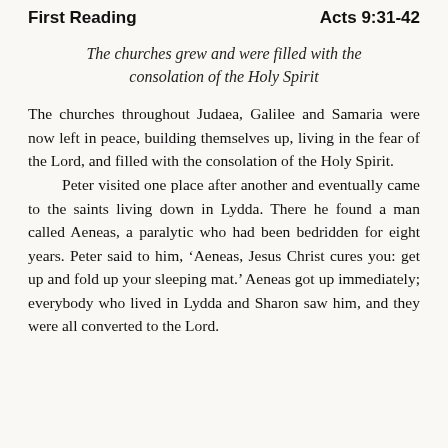First Reading   Acts 9:31-42
The churches grew and were filled with the consolation of the Holy Spirit
The churches throughout Judaea, Galilee and Samaria were now left in peace, building themselves up, living in the fear of the Lord, and filled with the consolation of the Holy Spirit.
    Peter visited one place after another and eventually came to the saints living down in Lydda. There he found a man called Aeneas, a paralytic who had been bedridden for eight years. Peter said to him, ‘Aeneas, Jesus Christ cures you: get up and fold up your sleeping mat.’ Aeneas got up immediately; everybody who lived in Lydda and Sharon saw him, and they were all converted to the Lord.